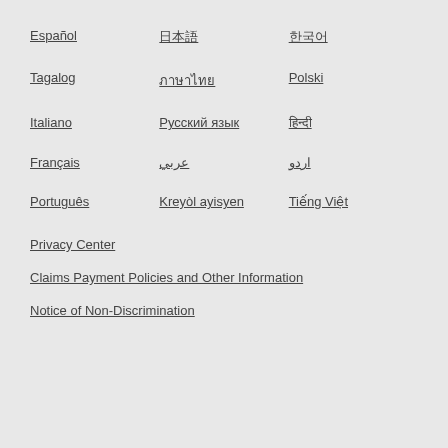Español
日本語
한국어
Tagalog
ภาษาไทย
Polski
Italiano
Русский язык
हिन्दी
Français
عربي
اردو
Português
Kreyòl ayisyen
Tiếng Việt
Privacy Center
Claims Payment Policies and Other Information
Notice of Non-Discrimination